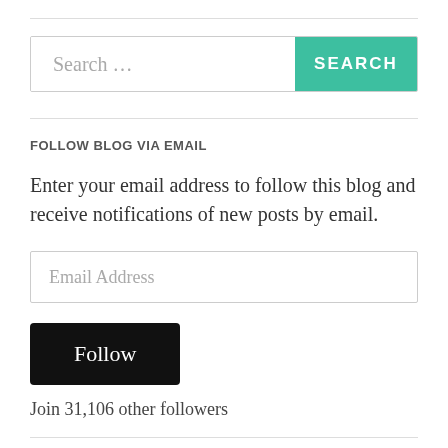[Figure (screenshot): Search bar with text input placeholder 'Search ...' and a teal 'SEARCH' button]
FOLLOW BLOG VIA EMAIL
Enter your email address to follow this blog and receive notifications of new posts by email.
[Figure (screenshot): Email Address input field]
[Figure (screenshot): Black Follow button]
Join 31,106 other followers